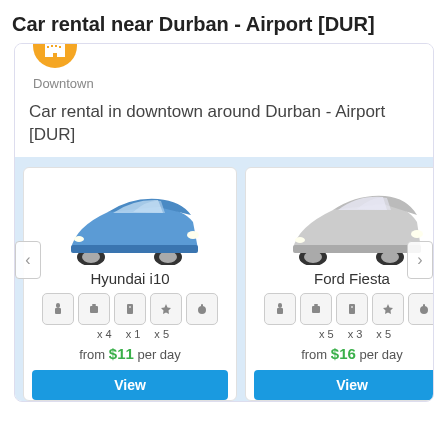Car rental near Durban - Airport [DUR]
Downtown
Car rental in downtown around Durban - Airport [DUR]
Hyundai i10
x 4  x 1  x 5
from $11 per day
View
Ford Fiesta
x 5  x 3  x 5
from $16 per day
View